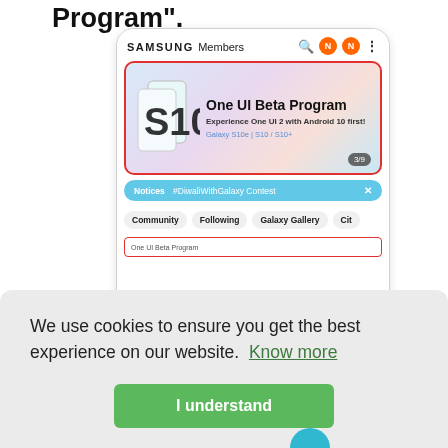Program".
[Figure (screenshot): Samsung Members app screenshot showing One UI Beta Program banner with red outline, Notices bar with #DiwaliWithGalaxy Contest, Community/Following/Galaxy Gallery/City tabs, and One UI Beta Program tab at bottom]
We use cookies to ensure you get the best experience on our website.  Know more
I understand